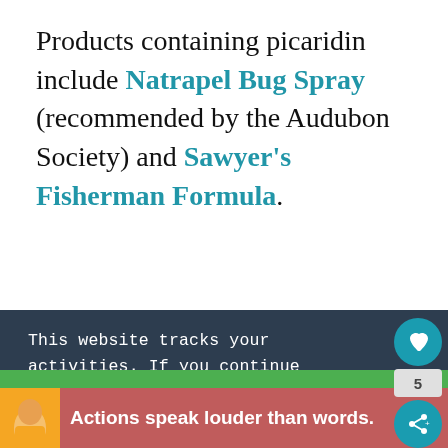Products containing picaridin include Natrapel Bug Spray (recommended by the Audubon Society) and Sawyer's Fisherman Formula.
[Figure (illustration): Advertisement banner showing decorative 'LOVE' lettering in black and white mosaic/collage style with a red heart detail, on a light background with a close (x) button.]
This website tracks your activities. If you continue browsing the site, you're giving us consent to track your activity.
[Figure (screenshot): Bottom advertisement banner with a person in a yellow shirt and text 'Actions speak louder than words.' on a pink/red background, with close buttons.]